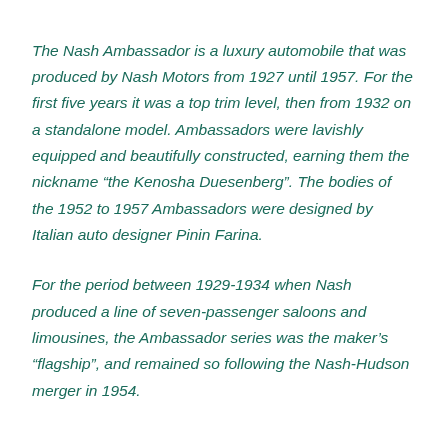The Nash Ambassador is a luxury automobile that was produced by Nash Motors from 1927 until 1957. For the first five years it was a top trim level, then from 1932 on a standalone model. Ambassadors were lavishly equipped and beautifully constructed, earning them the nickname “the Kenosha Duesenberg”. The bodies of the 1952 to 1957 Ambassadors were designed by Italian auto designer Pinin Farina.
For the period between 1929-1934 when Nash produced a line of seven-passenger saloons and limousines, the Ambassador series was the maker’s “flagship”, and remained so following the Nash-Hudson merger in 1954.